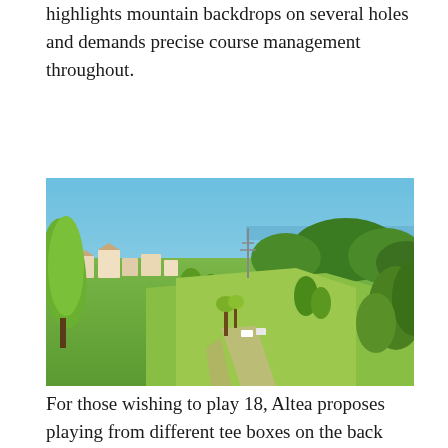highlights mountain backdrops on several holes and demands precise course management throughout.
[Figure (photo): Aerial view of a golf course with green fairways, palm trees, scattered buildings, and surrounding dense tree coverage under a clear blue sky.]
For those wishing to play 18, Altea proposes playing from different tee boxes on the back nine. Despite the elevations, Altea's health-conscious European audience can usually be found walking